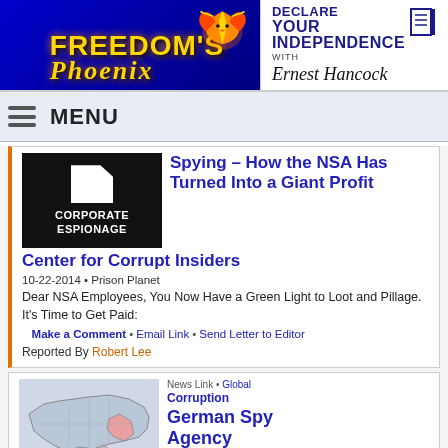[Figure (logo): Freedom's Phoenix logo with golden phoenix bird on blue background]
[Figure (logo): Declare Your Independence with Ernest Hancock logo]
MENU
[Figure (illustration): Corporate Espionage black logo image]
Spying – How the NSA Has Turned Into a Giant Profit Center for Corrupt Insiders
10-22-2014 • Prison Planet
Dear NSA Employees, You Now Have a Green Light to Loot and Pillage. It's Time to Get Paid:
Make a Comment • Email Link • Send Letter to Editor
Reported By Robert Lee
[Figure (map): Map of Ukraine showing regions]
News Link • Global
Corruption
German Spy Agency